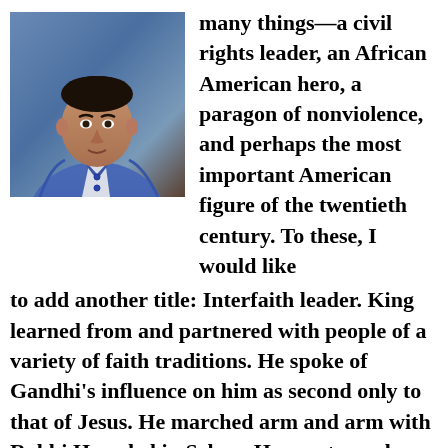[Figure (photo): Headshot of a man in a blue sweater against a dark background]
many things—a civil rights leader, an African American hero, a paragon of nonviolence, and perhaps the most important American figure of the twentieth century. To these, I would like to add another title: Interfaith leader. King learned from and partnered with people of a variety of faith traditions. He spoke of Gandhi's influence on him as second only to that of Jesus. He marched arm and arm with Rabbi Herschel in Selma. He was turned against the Vietnam War by a Buddhist monk, Thich Nhat Hanh. He quoted from different religious sources in his essays, public talks, and religious sermons. Recovering the part of King that built Interfaith bridges is essential